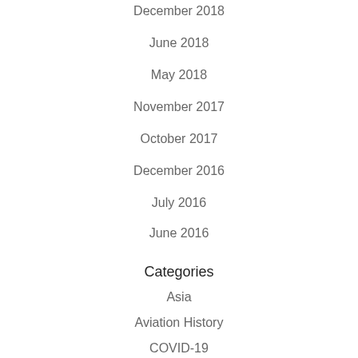December 2018
June 2018
May 2018
November 2017
October 2017
December 2016
July 2016
June 2016
Categories
Asia
Aviation History
COVID-19
Europe
Fun Facts
Los Angeles